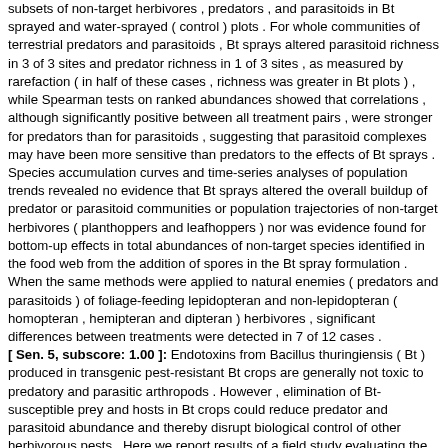subsets of non-target herbivores , predators , and parasitoids in Bt sprayed and water-sprayed ( control ) plots . For whole communities of terrestrial predators and parasitoids , Bt sprays altered parasitoid richness in 3 of 3 sites and predator richness in 1 of 3 sites , as measured by rarefaction ( in half of these cases , richness was greater in Bt plots ) , while Spearman tests on ranked abundances showed that correlations , although significantly positive between all treatment pairs , were stronger for predators than for parasitoids , suggesting that parasitoid complexes may have been more sensitive than predators to the effects of Bt sprays . Species accumulation curves and time-series analyses of population trends revealed no evidence that Bt sprays altered the overall buildup of predator or parasitoid communities or population trajectories of non-target herbivores ( planthoppers and leafhoppers ) nor was evidence found for bottom-up effects in total abundances of non-target species identified in the food web from the addition of spores in the Bt spray formulation . When the same methods were applied to natural enemies ( predators and parasitoids ) of foliage-feeding lepidopteran and non-lepidopteran ( homopteran , hemipteran and dipteran ) herbivores , significant differences between treatments were detected in 7 of 12 cases . [ Sen. 5, subscore: 1.00 ]: Endotoxins from Bacillus thuringiensis ( Bt ) produced in transgenic pest-resistant Bt crops are generally not toxic to predatory and parasitic arthropods . However , elimination of Bt-susceptible prey and hosts in Bt crops could reduce predator and parasitoid abundance and thereby disrupt biological control of other herbivorous pests . Here we report results of a field study evaluating the effects of Bt sprays on non-target terrestrial herbivore and natural enemy assemblages from three rice ( Oryza sativa L ) fields on Luzon Island , Philippines . Because of restrictions on field-testing of transgenic rice , Bt sprays were used to remove foliage-feeding lepidopteran larvae that